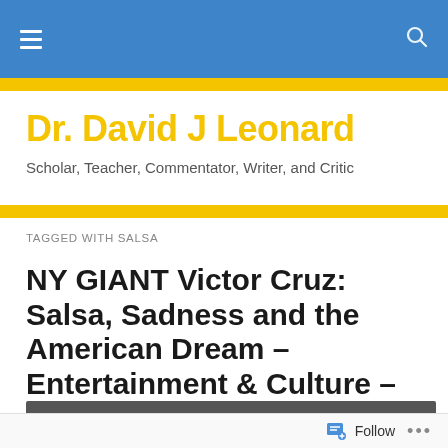Dr. David J Leonard — site header with hamburger menu and search icon
Dr. David J Leonard
Scholar, Teacher, Commentator, Writer, and Critic
TAGGED WITH SALSA
NY GIANT Victor Cruz: Salsa, Sadness and the American Dream – Entertainment & Culture – EBONY
Follow